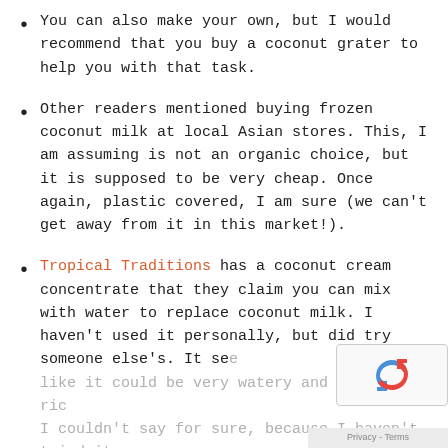You can also make your own, but I would recommend that you buy a coconut grater to help you with that task.
Other readers mentioned buying frozen coconut milk at local Asian stores. This, I am assuming is not an organic choice, but it is supposed to be very cheap. Once again, plastic covered, I am sure (we can't get away from it in this market!).
Tropical Traditions has a coconut cream concentrate that they claim you can mix with water to replace coconut milk. I haven't used it personally, but did try someone else's. It se[emed] like it could be very watery and not very ric[h]... I couldn't say for sure, because I haven't tried it...